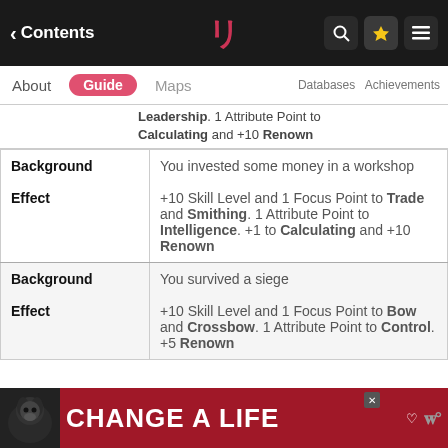Contents | [Logo] | Search | Favorites | Menu
About | Guide | Maps | Databases | Achievements
Leadership. 1 Attribute Point to Calculating and +10 Renown
|  |  |
| --- | --- |
| Background | You invested some money in a workshop |
| Effect | +10 Skill Level and 1 Focus Point to Trade and Smithing. 1 Attribute Point to Intelligence. +1 to Calculating and +10 Renown |
| Background | You survived a siege |
| Effect | +10 Skill Level and 1 Focus Point to Bow and Crossbow. 1 Attribute Point to Control. +5 Renown |
[Figure (photo): Advertisement banner: dog photo with 'CHANGE A LIFE' text on red background]